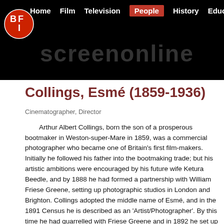BFI screenonline — Home  Film  Television  People  History  Education  Tours
Collings, Esmé (1859-1936)
Cinematographer, Director
Arthur Albert Collings, born the son of a prosperous bootmaker in Weston-super-Mare in 1859, was a commercial photographer who became one of Britain's first film-makers. Initially he followed his father into the bootmaking trade; but his artistic ambitions were encouraged by his future wife Ketura Beedle, and by 1888 he had formed a partnership with William Friese Greene, setting up photographic studios in London and Brighton. Collings adopted the middle name of Esmé, and in the 1891 Census he is described as an 'Artist/Photographer'. By this time he had quarrelled with Friese Greene and in 1892 he set up his own portrait studio in Hove.
In October 1896 his first public exhibition of the films he had made in Brighton opened to great acclaim at the Empire Theatre of Varieties. Only two films from his Brighton series (from a possible total of nineteen) have survived: Boys Scrambling for Pennies under the West Pier and Children Paddling. They both feature strong compositions and are engaging demonstrations of how animated photography could be used. The iconography of Children Paddling is of particular interest because of its similarity to Constable's painting 'Chain Pier, Brighton' (1826-27). In addition to these actualities, Collings also made a film featuring the actor/cellist Auguste van Biene in a scene from the play The Broken Melody (1896).